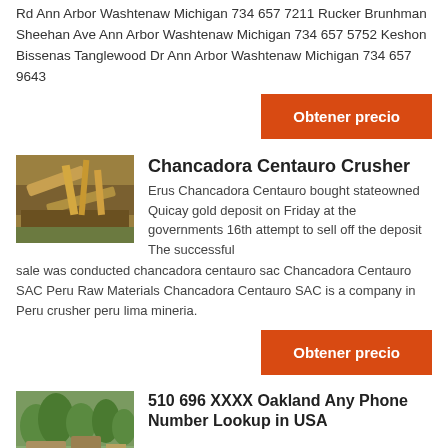Rd Ann Arbor Washtenaw Michigan 734 657 7211 Rucker Brunhman Sheehan Ave Ann Arbor Washtenaw Michigan 734 657 5752 Keshon Bissenas Tanglewood Dr Ann Arbor Washtenaw Michigan 734 657 9643
[Figure (photo): Industrial yellow crusher/conveyor machinery at a mining site]
Chancadora Centauro Crusher
Erus Chancadora Centauro bought stateowned Quicay gold deposit on Friday at the governments 16th attempt to sell off the deposit The successful sale was conducted chancadora centauro sac Chancadora Centauro SAC Peru Raw Materials Chancadora Centauro SAC is a company in Peru crusher peru lima mineria.
[Figure (photo): Mining site with equipment and trees in background]
510 696 XXXX Oakland Any Phone Number Lookup in USA
Erus Blackstone Escamilla Pl Oakland Alameda California Other Variations 1 510 696 7687 510 696 7235 Jughe Burdsall Via Annette Oakland Alameda California Other Variations 1 510 696 7235